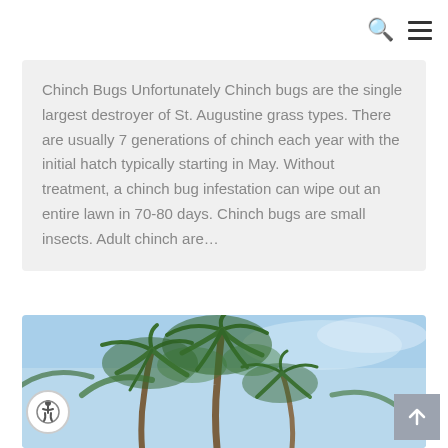Search and menu icons
Chinch Bugs Unfortunately Chinch bugs are the single largest destroyer of St. Augustine grass types. There are usually 7 generations of chinch each year with the initial hatch typically starting in May. Without treatment, a chinch bug infestation can wipe out an entire lawn in 70-80 days. Chinch bugs are small insects. Adult chinch are…
[Figure (photo): Photo of palm trees viewed from below against a blue sky]